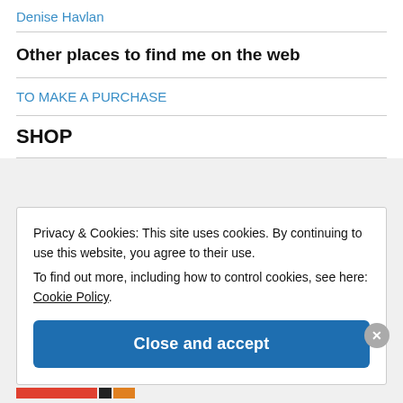Denise Havlan
Other places to find me on the web
TO MAKE A PURCHASE
SHOP
Privacy & Cookies: This site uses cookies. By continuing to use this website, you agree to their use.
To find out more, including how to control cookies, see here: Cookie Policy
Close and accept